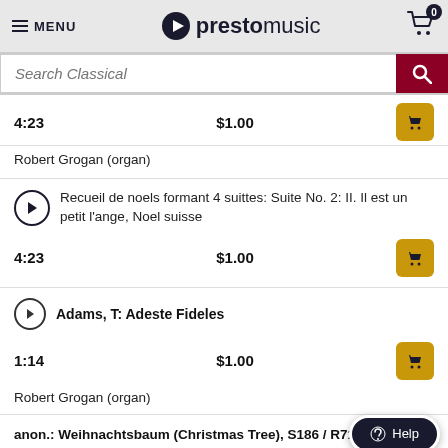MENU | prestomusic | Cart (0)
Search Classical
4:23   $1.00
Robert Grogan (organ)
Recueil de noels formant 4 suittes: Suite No. 2: II. Il est un petit l'ange, Noel suisse
4:23   $1.00
Adams, T: Adeste Fideles
1:14   $1.00
Robert Grogan (organ)
anon.: Weihnachtsbaum (Christmas Tree), S186 / R71 (arr.